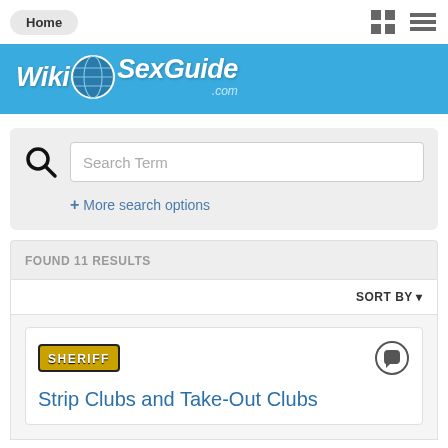Home
[Figure (logo): WikiSexGuide.com logo with globe icon on blue banner]
Search Term
+ More search options
FOUND 11 RESULTS
SORT BY
[Figure (screenshot): SHERIFF badge icon]
Strip Clubs and Take-Out Clubs